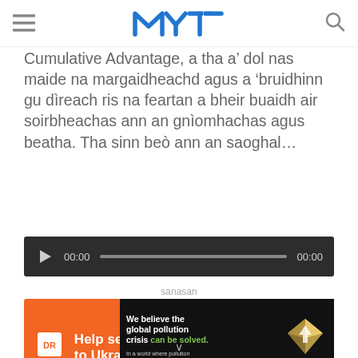MYT (logo)
Cumulative Advantage, a tha a' dol nas maide na margaidheachd agus a 'bruidhinn gu dìreach ris na feartan a bheir buaidh air soirbheachas ann an gnìomhachas agus beatha. Tha sinn beò ann an saoghal…
[Figure (other): Audio player with play button, 00:00 start time, progress bar, and 00:00 end time on dark background]
sanasan
[Figure (other): Direct Relief orange advertisement: Help send medical aid to Ukraine >>]
[Figure (other): Pure Earth black advertisement: We believe the global pollution crisis can be solved. In a world where pollution doesn't stop at borders, we can all be part of the solution. JOIN US. Pure Earth logo.]